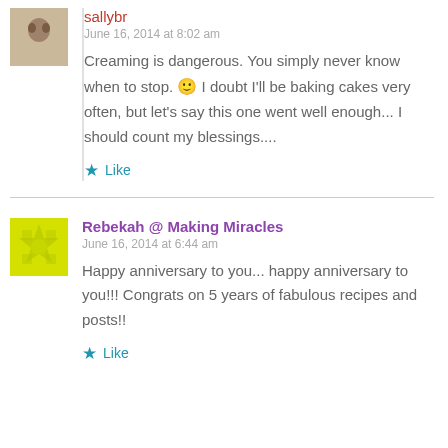sallybr
June 16, 2014 at 8:02 am
Creaming is dangerous. You simply never know when to stop. 🙂 I doubt I'll be baking cakes very often, but let's say this one went well enough... I should count my blessings....
Like
Rebekah @ Making Miracles
June 16, 2014 at 6:44 am
Happy anniversary to you... happy anniversary to you!!! Congrats on 5 years of fabulous recipes and posts!!
Like